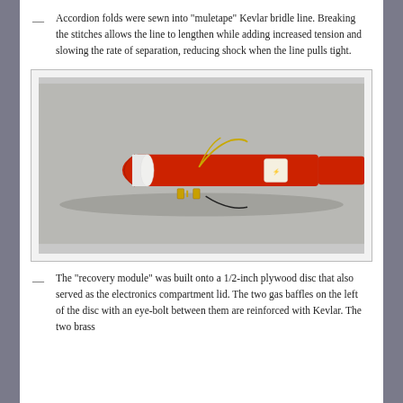Accordion folds were sewn into “muletape” Kevlar bridle line. Breaking the stitches allows the line to lengthen while adding increased tension and slowing the rate of separation, reducing shock when the line pulls tight.
[Figure (photo): Photograph of a red model rocket with nose cone separated, showing a recovery module assembly with gas baffles, an eye-bolt, and brass components on a plywood disc serving as the electronics compartment lid. Kevlar bridle line with accordion folds is visible.]
The “recovery module” was built onto a 1/2-inch plywood disc that also served as the electronics compartment lid. The two gas baffles on the left of the disc with an eye-bolt between them are reinforced with Kevlar. The two brass